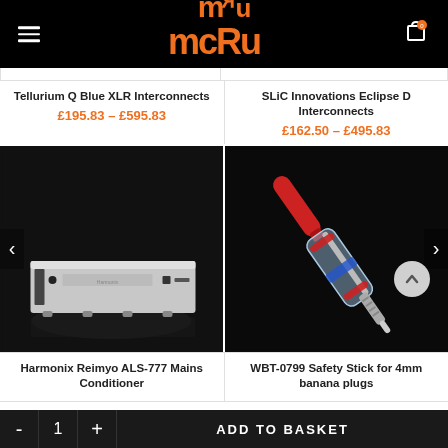[Figure (logo): MRU logo with text FROM MAINS TO MUSIC on black header bar]
Tellurium Q Blue XLR Interconnects
£195.83 – £595.83
SLiC Innovations Eclipse D Interconnects
£162.50 – £495.83
[Figure (photo): Harmonix Reimyo ALS-777 Mains Conditioner - silver/black hi-fi unit on dark background]
[Figure (photo): WBT-0799 Safety Stick for 4mm banana plugs - transparent connector with red safety cap on dark background]
Harmonix Reimyo ALS-777 Mains Conditioner
WBT-0799 Safety Stick for 4mm banana plugs
- 1 + ADD TO BASKET